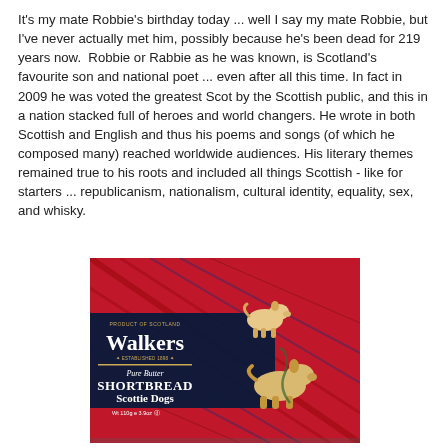It's my mate Robbie's birthday today ... well I say my mate Robbie, but I've never actually met him, possibly because he's been dead for 219 years now.  Robbie or Rabbie as he was known, is Scotland's favourite son and national poet ... even after all this time. In fact in 2009 he was voted the greatest Scot by the Scottish public, and this in a nation stacked full of heroes and world changers. He wrote in both Scottish and English and thus his poems and songs (of which he composed many) reached worldwide audiences. His literary themes remained true to his roots and included all things Scottish - like for starters ... republicanism, nationalism, cultural identity, equality, sex, and whisky.
[Figure (photo): Box of Walkers Pure Butter Shortbread Scottie Dogs on a red tartan background, with shortbread biscuits shaped like scottie dogs visible in the foreground. Text on box reads: Product of Scotland, Walkers, Established 1898, Pure Butter Shortbread Scottie Dogs, Wt 110g e 3.9oz.]